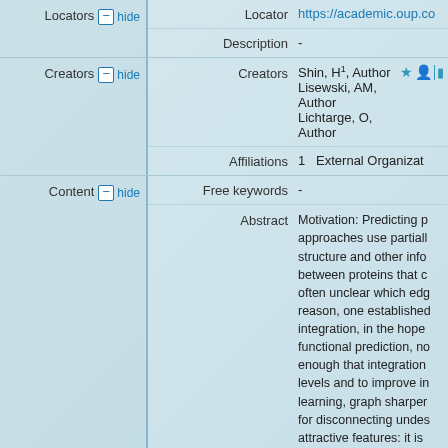| Field | Value |
| --- | --- |
| Locators | hide |
| Locator | https://academic.oup.co... |
| Description | - |
| Creators | hide |
| Creators | Shin, H1, Author
Lisewski, AM, Author
Lichtarge, O, Author |
| Affiliations | 1   External Organizat... |
| Content | hide |
| Free keywords | - |
| Abstract | Motivation: Predicting p... approaches use partiall... structure and other info... between proteins that c... often unclear which edg... reason, one established... integration, in the hope... functional prediction, no... enough that integration... levels and to improve in... learning, graph sharper... for disconnecting undes... attractive features: it is... tolerant of very diverse... accuracy in a test set... |